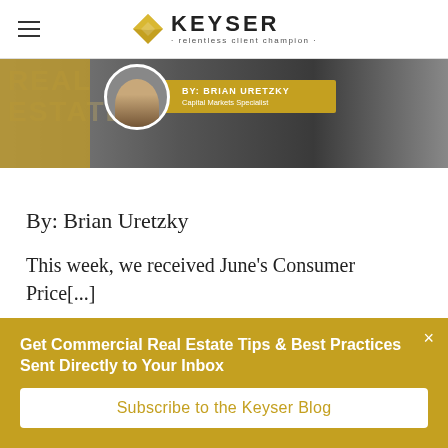KEYSER · relentless client champion
[Figure (photo): Article banner image with dark background, gold watermark text 'REAL ESTATE', and author info box for Brian Uretzky, Capital Markets Specialist with circular avatar photo]
By: Brian Uretzky
This week, we received June's Consumer Price[...]
Get Commercial Real Estate Tips & Best Practices Sent Directly to Your Inbox
Subscribe to the Keyser Blog